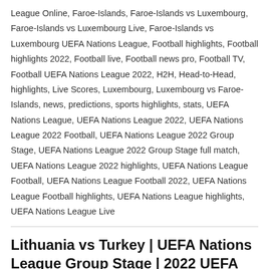League Online, Faroe-Islands, Faroe-Islands vs Luxembourg, Faroe-Islands vs Luxembourg Live, Faroe-Islands vs Luxembourg UEFA Nations League, Football highlights, Football highlights 2022, Football live, Football news pro, Football TV, Football UEFA Nations League 2022, H2H, Head-to-Head, highlights, Live Scores, Luxembourg, Luxembourg vs Faroe-Islands, news, predictions, sports highlights, stats, UEFA Nations League, UEFA Nations League 2022, UEFA Nations League 2022 Football, UEFA Nations League 2022 Group Stage, UEFA Nations League 2022 Group Stage full match, UEFA Nations League 2022 highlights, UEFA Nations League Football, UEFA Nations League Football 2022, UEFA Nations League Football highlights, UEFA Nations League highlights, UEFA Nations League Live
Lithuania vs Turkey | UEFA Nations League Group Stage | 2022 UEFA Nations League
June 7, 2022   paandu
[Figure (photo): Thumbnail image for Lithuania vs Turkey UEFA Nations League match, showing a soccer/football scene on a green pitch with 'LITHUANIA VS TURKEY' label overlay]
Lithuania vs Turkey | UEFA Nations League Group Stage | 2022